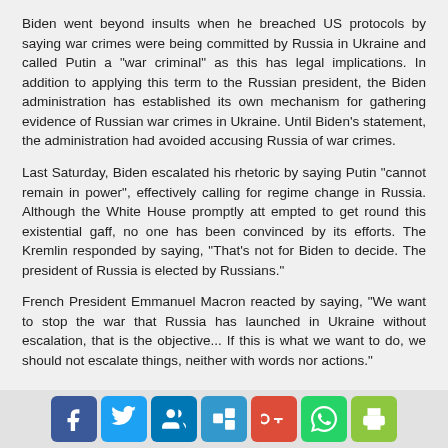Biden went beyond insults when he breached US protocols by saying war crimes were being committed by Russia in Ukraine and called Putin a "war criminal" as this has legal implications. In addition to applying this term to the Russian president, the Biden administration has established its own mechanism for gathering evidence of Russian war crimes in Ukraine. Until Biden's statement, the administration had avoided accusing Russia of war crimes.
Last Saturday, Biden escalated his rhetoric by saying Putin "cannot remain in power", effectively calling for regime change in Russia. Although the White House promptly att empted to get round this existential gaff, no one has been convinced by its efforts. The Kremlin responded by saying, "That's not for Biden to decide. The president of Russia is elected by Russians."
French President Emmanuel Macron reacted by saying, "We want to stop the war that Russia has launched in Ukraine without escalation, that is the objective... If this is what we want to do, we should not escalate things, neither with words nor actions."
[Figure (infographic): Social sharing buttons: Facebook, Twitter, LinkedIn, Delicious, Google+, WhatsApp, Print]